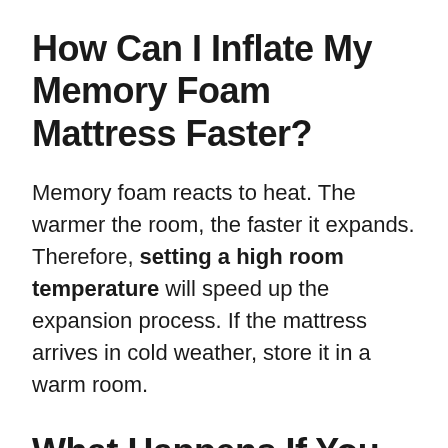How Can I Inflate My Memory Foam Mattress Faster?
Memory foam reacts to heat. The warmer the room, the faster it expands. Therefore, setting a high room temperature will speed up the expansion process. If the mattress arrives in cold weather, store it in a warm room.
What Happens If You Dont Let A Mattress Topper Expand?